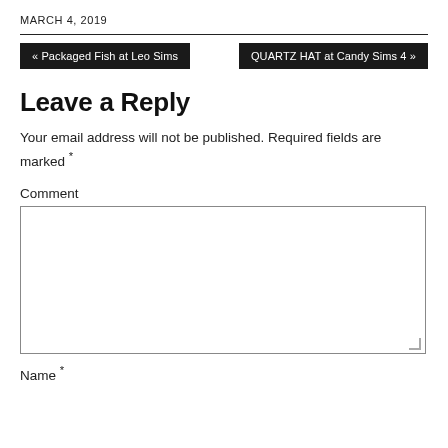MARCH 4, 2019
« Packaged Fish at Leo Sims
QUARTZ HAT at Candy Sims 4 »
Leave a Reply
Your email address will not be published. Required fields are marked *
Comment
Name *